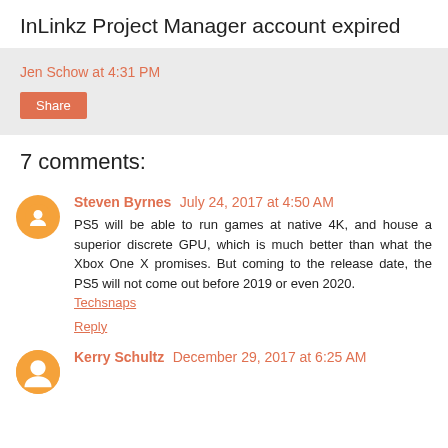InLinkz Project Manager account expired
Jen Schow at 4:31 PM
Share
7 comments:
Steven Byrnes July 24, 2017 at 4:50 AM
PS5 will be able to run games at native 4K, and house a superior discrete GPU, which is much better than what the Xbox One X promises. But coming to the release date, the PS5 will not come out before 2019 or even 2020. Techsnaps
Reply
Kerry Schultz December 29, 2017 at 6:25 AM